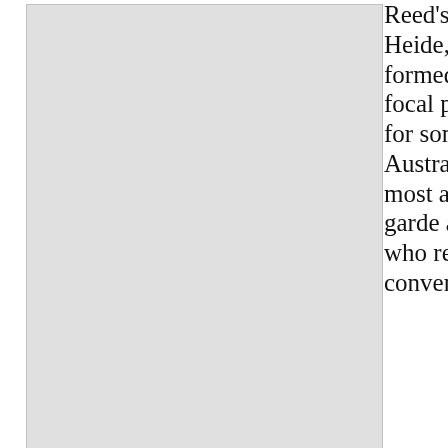[Figure (photo): Artwork image placeholder: Sidney Nolan, Bathers, 1943, ripolin enamel on canvas]
Sidney Nolan, Bathers, 1943, ripolin enamel on canvas, 62.9 x 75.5 cm, Heide Museum of Modern Art, Melbourne, © The Sidney Nolan Trust, Bequest of John and Sunday Reed 1982
Reed's home, Heide, formed a focal point for some of Australia's most avant-garde artists, who rejected conventional ways of living and learning and spearheaded the modernist movement in Melbourne. This constellation of rising talent included the young Sidney Nolan, cerebral painter Albert Tucker and his partner Joy Hester, the quiet yet passionate Arthur Boyd